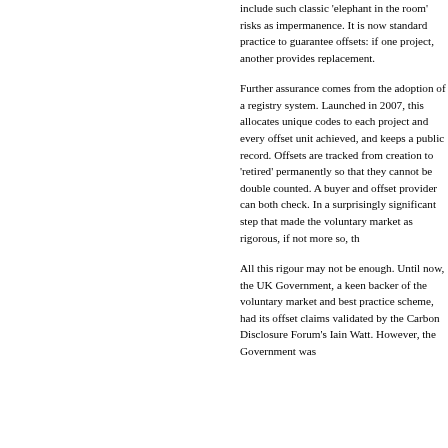include such classic 'elephant in the room' risks as impermanence. It is now standard practice to guarantee offsets: if one project, another provides replacement.
Further assurance comes from the adoption of a registry system. Launched in 2007, this allocates unique codes to each project and every offset unit achieved, and keeps a public record. Offsets are tracked from creation to 'retired' permanently so that they cannot be double counted. A buyer and offset provider can both check. In a surprisingly significant step that made the voluntary market as rigorous, if not more so, than the compliance
All this rigour may not be enough. Until now, the UK Government, a keen backer of the voluntary market and best practice scheme, had its offset claims validated by the Carbon Disclosure Forum's Iain Watt. However, the Government was